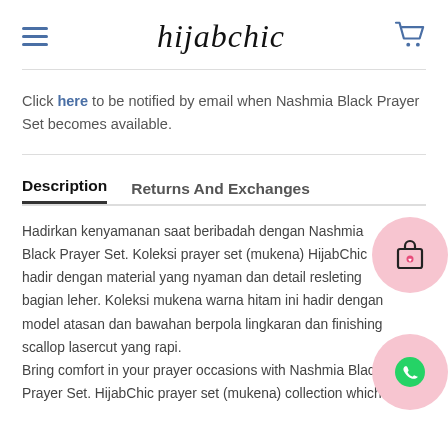hijabchic
Click here to be notified by email when Nashmia Black Prayer Set becomes available.
Description
Returns And Exchanges
Hadirkan kenyamanan saat beribadah dengan Nashmia Black Prayer Set. Koleksi prayer set (mukena) HijabChic hadir dengan material yang nyaman dan detail resleting bagian leher. Koleksi mukena warna hitam ini hadir dengan model atasan dan bawahan berpola lingkaran dan finishing scallop lasercut yang rapi. Bring comfort in your prayer occasions with Nashmia Black Prayer Set. HijabChic prayer set (mukena) collection which